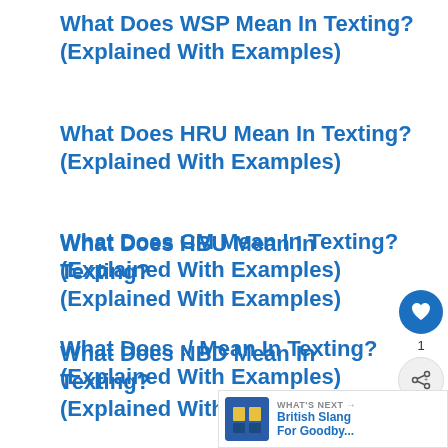What Does WSP Mean In Texting? (Explained With Examples)
What Does HRU Mean In Texting? (Explained With Examples)
What Does CM Mean In Texting? (Explained With Examples)
What Does :/ Mean In Texting? (Explained With Examples)
What Does HBU Mean In Texting? (Explained With Examples)
What Does NBD Mean In Texting? (Explained With Examples)
[Figure (infographic): Social media action buttons: heart/like button (blue circle with white heart icon), count of 1, and share button (grey circle with share icon)]
[Figure (screenshot): What's Next banner with thumbnail and text: WHAT'S NEXT -> British Slang For Goodby...]